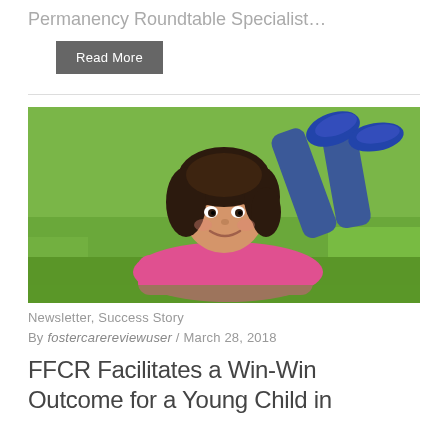Permanency Roundtable Specialist…
Read More
[Figure (photo): A young girl with dark hair and bangs, wearing a pink shirt, lying on green grass and smiling at the camera. Her legs are raised behind her, wearing blue sneakers.]
Newsletter, Success Story
By fostercarereviewuser / March 28, 2018
FFCR Facilitates a Win-Win Outcome for a Young Child in